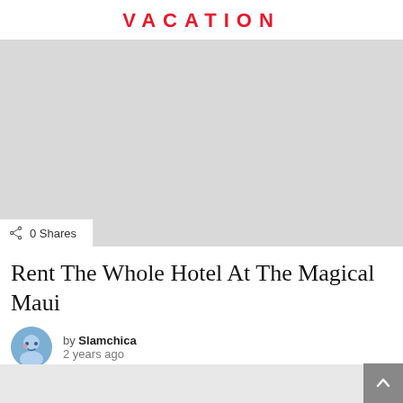VACATION
[Figure (photo): Large light gray placeholder image area for article photo]
0 Shares
Rent The Whole Hotel At The Magical Maui
by Slamchica
2 years ago
[Figure (photo): Bottom gray strip image placeholder]